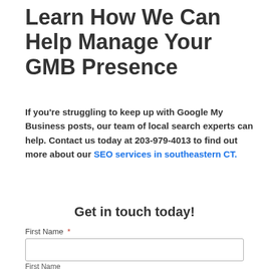Learn How We Can Help Manage Your GMB Presence
If you're struggling to keep up with Google My Business posts, our team of local search experts can help. Contact us today at 203-979-4013 to find out more about our SEO services in southeastern CT.
Get in touch today!
First Name *
First Name